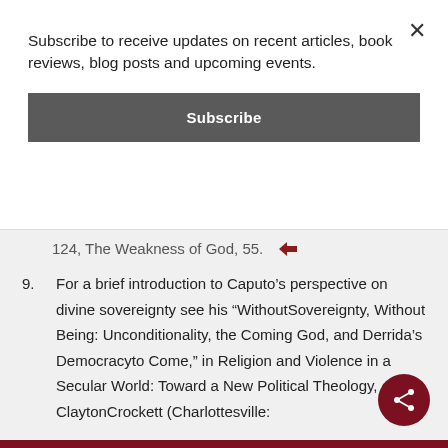Subscribe to receive updates on recent articles, book reviews, blog posts and upcoming events.
Subscribe
124, The Weakness of God, 55.
9. For a brief introduction to Caputo’s perspective on divine sovereignty see his “WithoutSovereignty, Without Being: Unconditionality, the Coming God, and Derrida’s Democracyto Come,” in Religion and Violence in a Secular World: Toward a New Political Theology, ed. ClaytonCrockett (Charlottesville: